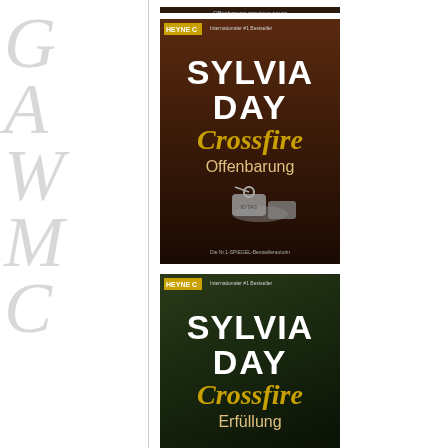[Figure (illustration): Book cover: Sylvia Day Crossfire Offenbarung, brown/dark cover with dog tags, Heyne C publisher]
[Figure (illustration): Book cover: Sylvia Day Crossfire Erfüllung, dark green cover with gold bar/key, Heyne C publisher]
[Figure (illustration): Book cover: Sylvia Day Crossfire Hingabe, blue/dark cover, Heyne C publisher]
M. A. Stacie is never w... sexy, yet angst ridden... did not grip her unt...